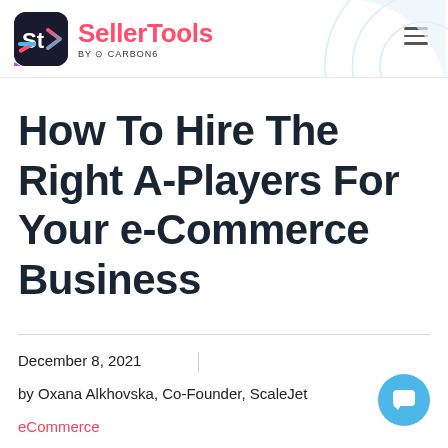SellerTools by CARBON6
How To Hire The Right A-Players For Your e-Commerce Business
December 8, 2021
by Oxana Alkhovska, Co-Founder, ScaleJet
eCommerce